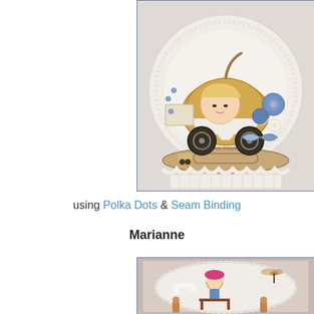[Figure (photo): A handmade craft card featuring a baby in an ornate vintage pram/carriage, decorated with blue roses, lace doily, pearls, ribbons, and embellishments on a white rocking base. Watermark reads 'creative tracker'.]
using Polka Dots & Seam Binding
Marianne
[Figure (photo): A handmade craft card featuring a girl in a pink hat sitting at a bench/table with a dragonfly, gingerbread figures, and decorative scalloped border on a light pink/beige background.]